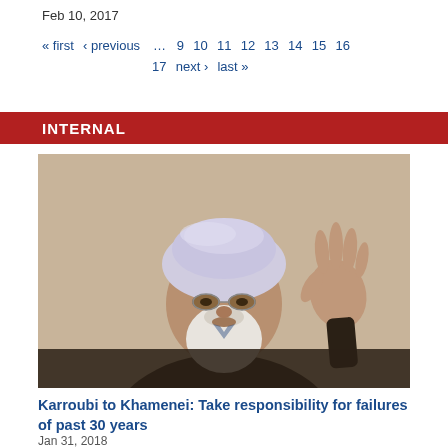Feb 10, 2017
« first ‹ previous … 9 10 11 12 13 14 15 16 17 next › last »
INTERNAL
[Figure (photo): An elderly man wearing a white turban and dark jacket, with glasses and a white beard, raising his right hand in a wave against a beige background.]
Karroubi to Khamenei: Take responsibility for failures of past 30 years
Jan 31, 2018